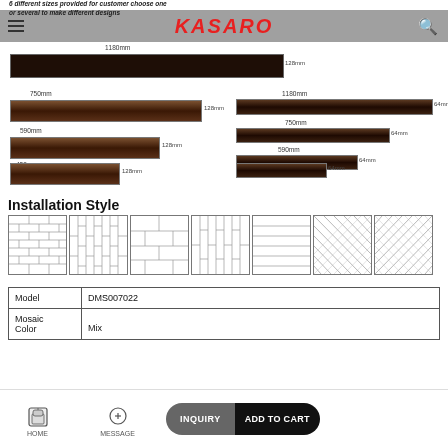6 different sizes provided for customer choose one or several to make different designs
KASARO
[Figure (schematic): Product dimension diagrams showing tile sizes: Left column: 750mm x 128mm, 590mm x 128mm, 430mm x 128mm with dark wood-look tile images. Right column: 1180mm x 64mm, 750mm x 64mm, 590mm x 64mm, 430mm x 64mm with dark tile images. Top large bar: 1180mm x 128mm.]
Installation Style
[Figure (schematic): Seven installation pattern diagrams shown as line-drawn tile layout patterns: horizontal brick, vertical brick, offset horizontal, vertical stack, horizontal stack, left herringbone, right herringbone]
| Model | DMS007022 |
| --- | --- |
| Mosaic Color | Mix |
HOME   MESSAGE   INQUIRY   ADD TO CART